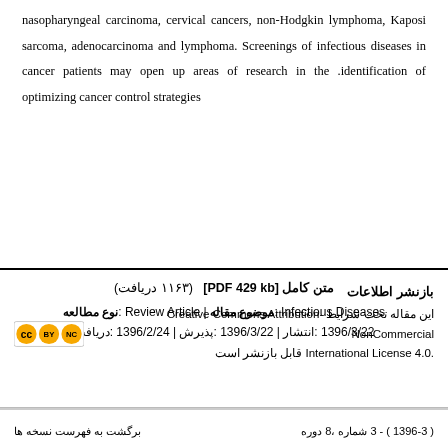nasopharyngeal carcinoma, cervical cancers, non-Hodgkin lymphoma, Kaposi sarcoma, adenocarcinoma and lymphoma. Screenings of infectious diseases in cancer patients may open up areas of research in the identification of optimizing cancer control strategies.
متن کامل [PDF 429 kb]  (۱۱۶۳ دریافت)
نوع مطالعه : Review Article | موضوع مقاله: Infectious Diseases
دریافت: 1396/2/24 | پذیرش: 1396/3/22 | انتشار: 1396/3/22
بازنشر اطلاعات
این مقاله تحت شرایط Creative Commons Attribution-NonCommercial 4.0 International License قابل بازنشر است.
دوره 8، شماره 3 - ( 1396-3 )         برگشت به فهرست نسخه ها